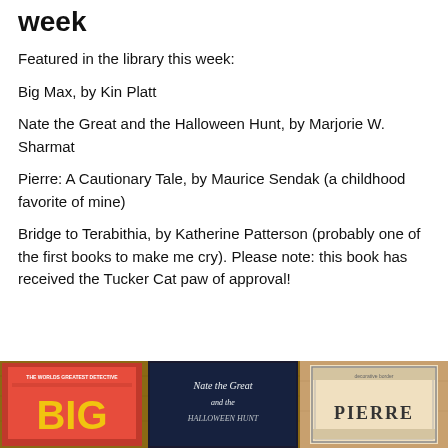week
Featured in the library this week:
Big Max, by Kin Platt
Nate the Great and the Halloween Hunt, by Marjorie W. Sharmat
Pierre: A Cautionary Tale, by Maurice Sendak (a childhood favorite of mine)
Bridge to Terabithia, by Katherine Patterson (probably one of the first books to make me cry). Please note: this book has received the Tucker Cat paw of approval!
[Figure (photo): Three children's book covers on a wooden surface: Big Max (red cover), Nate the Great and the Halloween Hunt (dark cover), and Pierre (tan/cream cover with decorative border)]